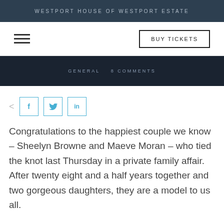WESTPORT HOUSE OF WESTPORT ESTATE
[Figure (screenshot): Navigation bar with hamburger menu icon and BUY TICKETS button]
[Figure (screenshot): Dark hero image strip with text: GENERAL  8 COMMENTS]
[Figure (infographic): Social share icons row: share icon, Facebook (f), Twitter (bird), LinkedIn (in)]
Congratulations to the happiest couple we know – Sheelyn Browne and Maeve Moran – who tied the knot last Thursday in a private family affair. After twenty eight and a half years together and two gorgeous daughters, they are a model to us all.